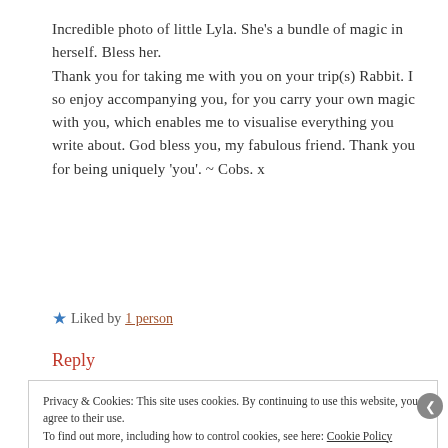Incredible photo of little Lyla. She's a bundle of magic in herself. Bless her.
Thank you for taking me with you on your trip(s) Rabbit. I so enjoy accompanying you, for you carry your own magic with you, which enables me to visualise everything you write about. God bless you, my fabulous friend. Thank you for being uniquely 'you'. ~ Cobs. x
★ Liked by 1 person
Reply
Privacy & Cookies: This site uses cookies. By continuing to use this website, you agree to their use.
To find out more, including how to control cookies, see here: Cookie Policy
Close and accept